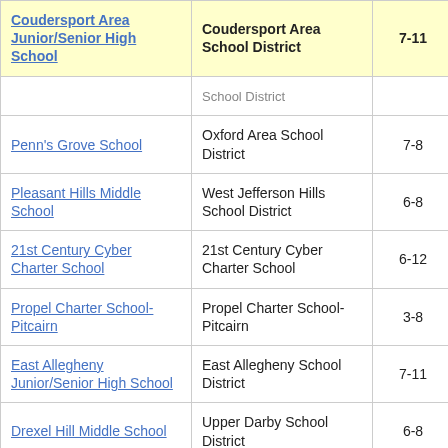| School | District | Grades | Value |
| --- | --- | --- | --- |
| Coudersport Area Junior/Senior High School | Coudersport Area School District | 7-11 | 1. |
| School District (partial) |  |  |  |
| Penn's Grove School | Oxford Area School District | 7-8 | -3. |
| Pleasant Hills Middle School | West Jefferson Hills School District | 6-8 | -2. |
| 21st Century Cyber Charter School | 21st Century Cyber Charter School | 6-12 | -3. |
| Propel Charter School-Pitcairn | Propel Charter School-Pitcairn | 3-8 | -5. |
| East Allegheny Junior/Senior High School | East Allegheny School District | 7-11 | -4. |
| Drexel Hill Middle School | Upper Darby School District | 6-8 | -2. |